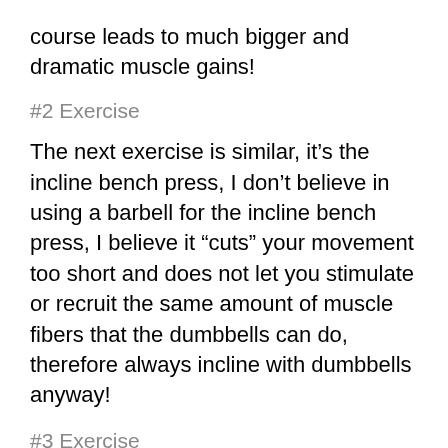course leads to much bigger and dramatic muscle gains!
#2 Exercise
The next exercise is similar, it’s the incline bench press, I don’t believe in using a barbell for the incline bench press, I believe it “cuts” your movement too short and does not let you stimulate or recruit the same amount of muscle fibers that the dumbbells can do, therefore always incline with dumbbells anyway!
#3 Exercise